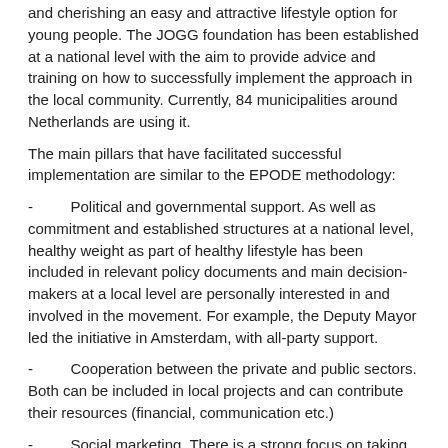and cherishing an easy and attractive lifestyle option for young people. The JOGG foundation has been established at a national level with the aim to provide advice and training on how to successfully implement the approach in the local community. Currently, 84 municipalities around Netherlands are using it.
The main pillars that have facilitated successful implementation are similar to the EPODE methodology:
- Political and governmental support. As well as commitment and established structures at a national level, healthy weight as part of healthy lifestyle has been included in relevant policy documents and main decision-makers at a local level are personally interested in and involved in the movement. For example, the Deputy Mayor led the initiative in Amsterdam, with all-party support.
- Cooperation between the private and public sectors. Both can be included in local projects and can contribute their resources (financial, communication etc.)
- Social marketing. There is a strong focus on taking into account the user's perspective and identifying barriers and facilitators for healthy lifestyles, and adapting the intervention to fit local target population's needs